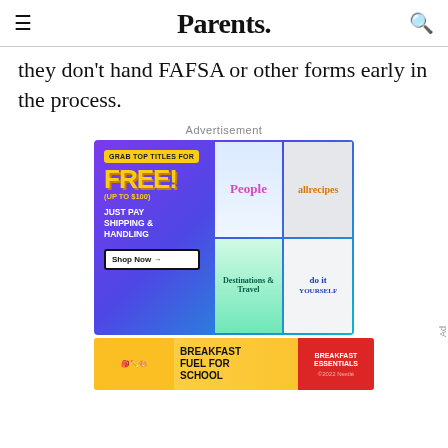Parents.
they don't hand FAFSA or other forms early in the process.
Advertisement
[Figure (illustration): Advertisement banner for magazine subscription service. Left panel with purple/blue gradient background shows 'GRAB TOP TITLES FOR FREE! (UP TO $100)' in yellow text and 'JUST PAY SHIPPING & HANDLING' in white text with a 'Shop Now' button. Right panel shows four magazine covers: People, allrecipes, a travel/destinations magazine, and do it yourself. Below is a secondary ad for Breakfast Essentials cereal on a yellow background with text 'BREAKFAST FUEL FOR SCHOOL'.]